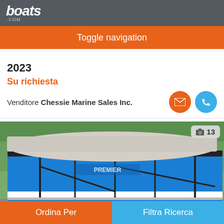boats.com
Toggle navigation
2023
Su richiesta
Venditore Chessie Marine Sales Inc.
[Figure (photo): Blue pontoon boat on a trailer, with dark metal railing and white cover on top, parked outdoors near trees. A photo count badge showing camera icon and '13' is visible in the top-right corner.]
Ordina Per | Filtra Ricerca